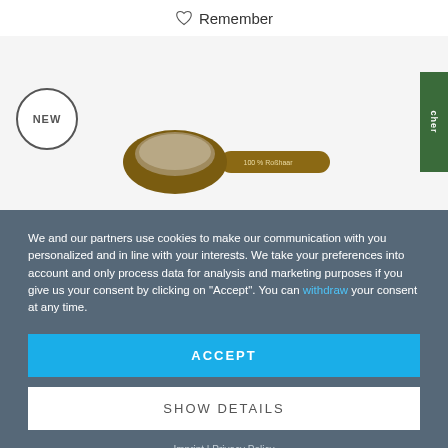Remember
[Figure (photo): A small wooden oval-headed brush with bristles, labeled '100% Roßhaar', with a NEW circular badge on the left and a green vertical side tab on the right]
We and our partners use cookies to make our communication with you personalized and in line with your interests. We take your preferences into account and only process data for analysis and marketing purposes if you give us your consent by clicking on "Accept". You can withdraw your consent at any time.
ACCEPT
SHOW DETAILS
Imprint | Privacy Policy